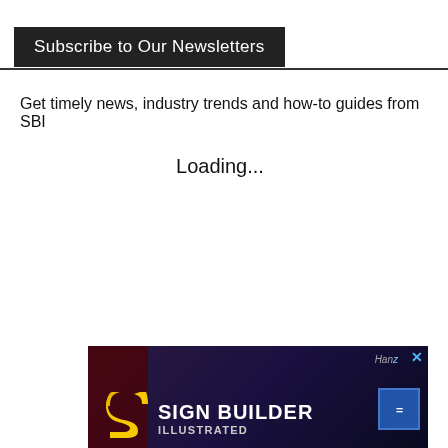Subscribe to Our Newsletters
Get timely news, industry trends and how-to guides from SBI
Loading...
[Figure (photo): Advertisement banner for Sign Builder Illustrated magazine showing logo with stylized S symbol and text SIGN BUILDER ILLUSTRATED against a dark background with Times Square imagery]